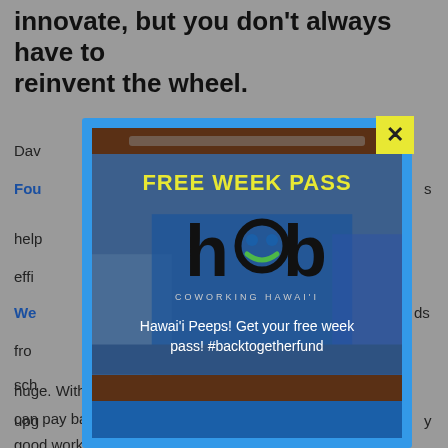innovate, but you don't always have to reinvent the wheel.
Dav... Founders... helps... effici...
We... ds from... sche... upg... y at the... huge. With the money they save, they can pay back their donors and do more good work for their communities.
[Figure (infographic): A popup modal with a blue border and yellow X close button. Inside is a promotional image for Hub Coworking Hawaii offering a FREE WEEK PASS. The modal shows the Hub logo (h.b with circular smiley element) and text: Hawai'i Peeps! Get your free week pass! #backtogetherfund. Background shows interior of a coworking space.]